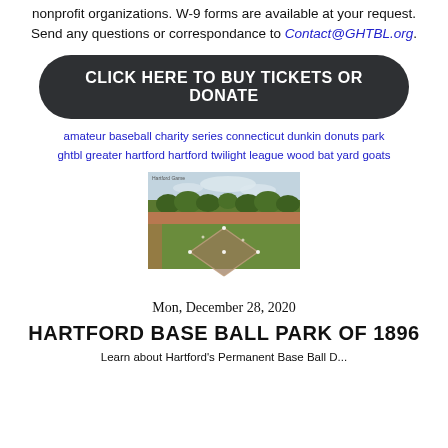nonprofit organizations. W-9 forms are available at your request. Send any questions or correspondance to Contact@GHTBL.org.
CLICK HERE TO BUY TICKETS OR DONATE
amateur baseball charity series connecticut dunkin donuts park ghtbl greater hartford hartford twilight league wood bat yard goats
[Figure (photo): Vintage sepia/color photograph of Hartford Base Ball Park showing a baseball game in progress, circa 1896. Green grass field, crowd along the side, trees in background.]
Mon, December 28, 2020
HARTFORD BASE BALL PARK OF 1896
Learn about Hartford's Permanent Base Ball D...